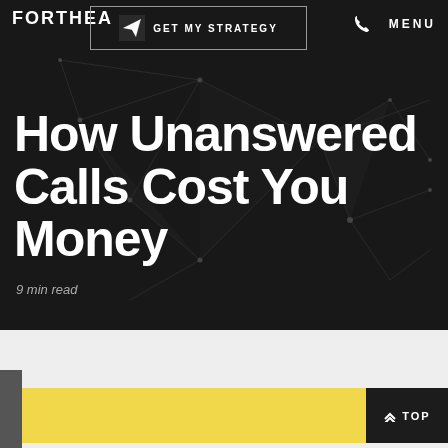FORTHEA  GET MY STRATEGY  MENU
How Unanswered Calls Cost You Money
9 min read
[Figure (screenshot): Yellow call-to-action box at bottom of page with a dark 'TOP' button on the right]